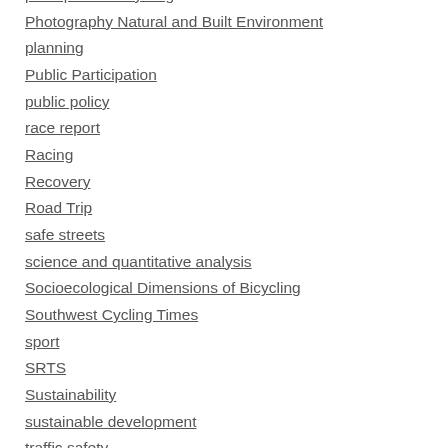perceptions of cycling
Photography Natural and Built Environment
planning
Public Participation
public policy
race report
Racing
Recovery
Road Trip
safe streets
science and quantitative analysis
Socioecological Dimensions of Bicycling
Southwest Cycling Times
sport
SRTS
Sustainability
sustainable development
traffic safety
training